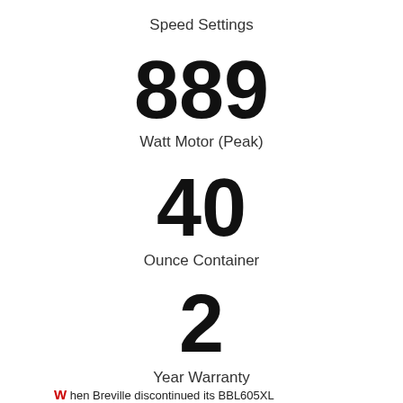Speed Settings
889
Watt Motor (Peak)
40
Ounce Container
2
Year Warranty
hen Breville discontinued its BBL605XL